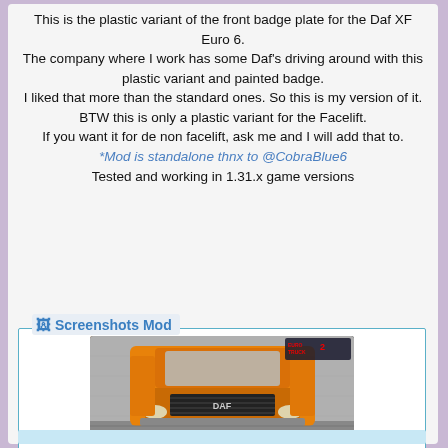This is the plastic variant of the front badge plate for the Daf XF Euro 6.
The company where I work has some Daf's driving around with this plastic variant and painted badge.
I liked that more than the standard ones. So this is my version of it.
BTW this is only a plastic variant for the Facelift.
If you want it for de non facelift, ask me and I will add that to.
*Mod is standalone thnx to @CobraBlue6
Tested and working in 1.31.x game versions
Screenshots Mod
[Figure (photo): Front view of an orange DAF XF Euro 6 truck in a garage, with Euro Truck Simulator 2 game overlay logo in the top right corner.]